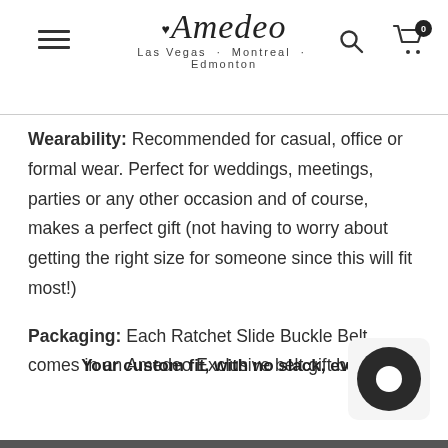Amedeo — Las Vegas · Montreal · Edmonton
Wearability: Recommended for casual, office or formal wear. Perfect for weddings, meetings, parties or any other occasion and of course, makes a perfect gift (not having to worry about getting the right size for someone since this will fit most!)
Packaging: Each Ratchet Slide Buckle Belt comes in an Amedeo Exclusive belt gift box.
Your custom fit, with no slack, every time!
[Figure (other): Chat widget button — dark circular icon in bottom right corner]